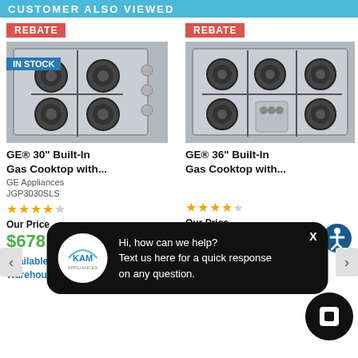CUSTOMER ALSO VIEWED
[Figure (photo): GE 30-inch built-in gas cooktop, stainless steel, 4 burners, IN STOCK badge, REBATE badge]
[Figure (photo): GE 36-inch built-in gas cooktop, stainless steel, 4 burners, REBATE badge]
GE® 30" Built-In Gas Cooktop with...
GE® 36" Built-In Gas Cooktop with...
GE Appliances
JGP3030SLS
Our Price
$678
Our Price
$1,198
Available In Our Offsite Warehouse: 7
[Figure (infographic): KAM Appliances chat popup: Hi, how can we help? Text us here for a quick response on any question.]